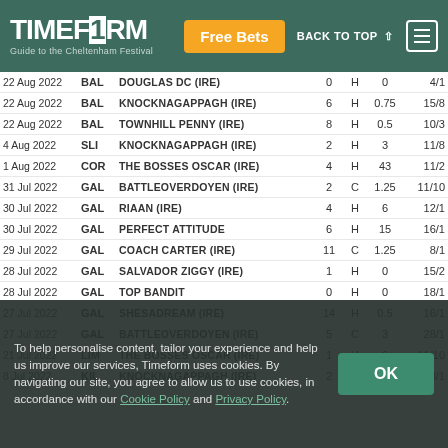TIMEFORM - Guide to the Cheltenham Festival | Free Bets | BACK TO TOP | Menu
| Date | Venue | Horse | Pos | Type | Rating | Odds |
| --- | --- | --- | --- | --- | --- | --- |
| 22 Aug 2022 | BAL | DOUGLAS DC (IRE) | 0 | H | 0 | 4/1 |
| 22 Aug 2022 | BAL | KNOCKNAGAPPAGH (IRE) | 6 | H | 0.75 | 15/8 |
| 22 Aug 2022 | BAL | TOWNHILL PENNY (IRE) | 8 | H | 0.5 | 10/3 |
| 4 Aug 2022 | SLI | KNOCKNAGAPPAGH (IRE) | 2 | H | 3 | 11/8 |
| 1 Aug 2022 | COR | THE BOSSES OSCAR (IRE) | 4 | H | 43 | 11/2 |
| 31 Jul 2022 | GAL | BATTLEOVERDOYEN (IRE) | 2 | C | 1.25 | 11/10 |
| 30 Jul 2022 | GAL | RIAAN (IRE) | 4 | H | 6 | 12/1 |
| 30 Jul 2022 | GAL | PERFECT ATTITUDE | 6 | H | 15 | 16/1 |
| 29 Jul 2022 | GAL | COACH CARTER (IRE) | 11 | C | 1.25 | 8/1 |
| 28 Jul 2022 | GAL | SALVADOR ZIGGY (IRE) | 1 | H | 0 | 15/2 |
| 28 Jul 2022 | GAL | TOP BANDIT | 0 | H | 0 | 18/1 |
| 27 Jul 2022 | GAL | SHESADREAM (IRE) | 14 | H | 0.5 | 16/1 |
| 27 Jul 2022 | GAL | BATTLEOVERDOYEN (IRE) | 5 | C | 3 | 28/1 |
| 21 Jul 2022 | LIM | THE BOSSES OSCAR (IRE) | 1 | H | 0 | 11/10 |
| 8 Jul 2022 | KIL | KNOCKNAGAPPAGH (IRE) | 2 | H | 0.75 | 28/1 |
| 8 Jul 2022 | KIL | PETROL HEAD (IRE) | 2 | H | 3.25 | 1/2 |
To help personalise content, tailor your experience and help us improve our services, Timeform uses cookies. By navigating our site, you agree to allow us to use cookies, in accordance with our Cookie Policy and Privacy Policy.